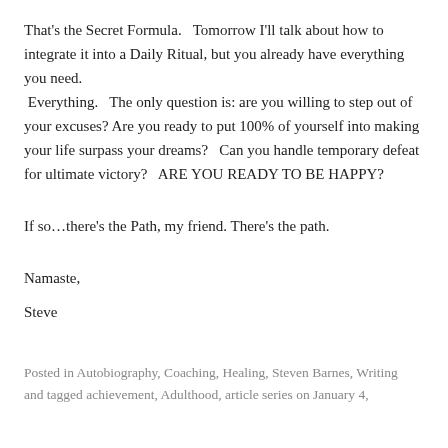That's the Secret Formula.   Tomorrow I'll talk about how to integrate it into a Daily Ritual, but you already have everything you need.  Everything.   The only question is: are you willing to step out of your excuses? Are you ready to put 100% of yourself into making your life surpass your dreams?   Can you handle temporary defeat for ultimate victory?   ARE YOU READY TO BE HAPPY?
If so…there's the Path, my friend. There's the path.
Namaste,
Steve
Posted in Autobiography, Coaching, Healing, Steven Barnes, Writing and tagged achievement, Adulthood, article series on January 4,